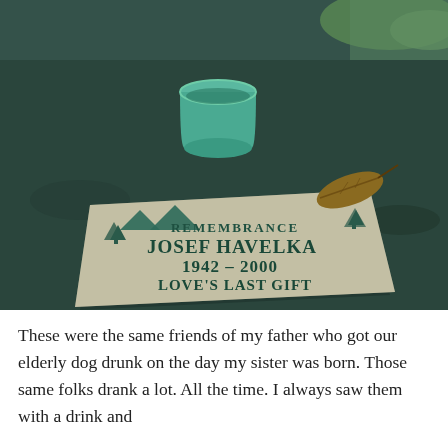[Figure (photo): A photograph of a flat granite pet memorial marker on the ground. The stone reads: REMEMBRANCE / JOSEF HAVELKA / 1942 – 2000 / LOVE'S LAST GIFT. There is a teal/mint colored cup and a dark wine bottle placed on the stone, along with a dried leaf. The background is dark soil and some green grass.]
These were the same friends of my father who got our elderly dog drunk on the day my sister was born. Those same folks drank a lot. All the time. I always saw them with a drink and